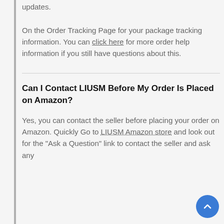updates.

On the Order Tracking Page for your package tracking information. You can click here for more order help information if you still have questions about this.
Can I Contact LIUSM Before My Order Is Placed on Amazon?
Yes, you can contact the seller before placing your order on Amazon. Quickly Go to LIUSM Amazon store and look out for the "Ask a Question" link to contact the seller and ask any